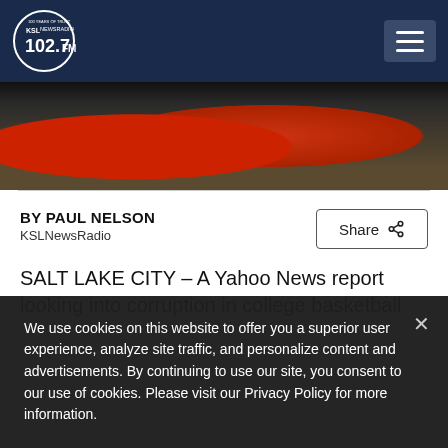KSL NewsRadio 102.7FM
[Figure (photo): Basketball player in red jersey, partial view, dark background]
BY PAUL NELSON
KSLNewsRadio
Share
SALT LAKE CITY – A Yahoo News report looking into corruption in college basketball
We use cookies on this website to offer you a superior user experience, analyze site traffic, and personalize content and advertisements. By continuing to use our site, you consent to our use of cookies. Please visit our Privacy Policy for more information.